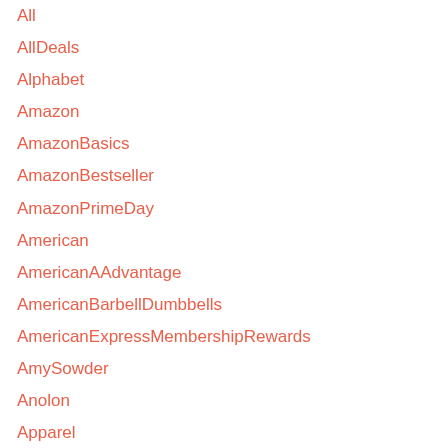All
AllDeals
Alphabet
Amazon
AmazonBasics
AmazonBestseller
AmazonPrimeDay
American
AmericanAAdvantage
AmericanBarbellDumbbells
AmericanExpressMembershipRewards
AmySowder
Anolon
Apparel